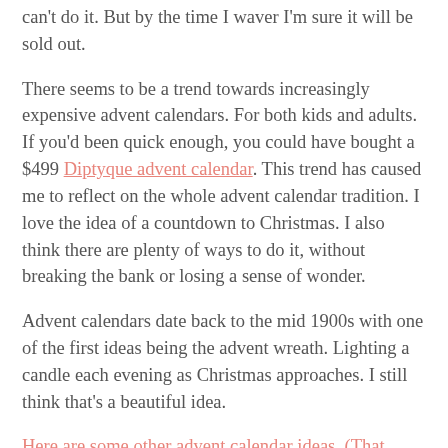can't do it. But by the time I waver I'm sure it will be sold out.
There seems to be a trend towards increasingly expensive advent calendars. For both kids and adults. If you'd been quick enough, you could have bought a $499 Diptyque advent calendar. This trend has caused me to reflect on the whole advent calendar tradition. I love the idea of a countdown to Christmas. I also think there are plenty of ways to do it, without breaking the bank or losing a sense of wonder.
Advent calendars date back to the mid 1900s with one of the first ideas being the advent wreath. Lighting a candle each evening as Christmas approaches. I still think that’s a beautiful idea.
Here are some other advent calendar ideas. (That